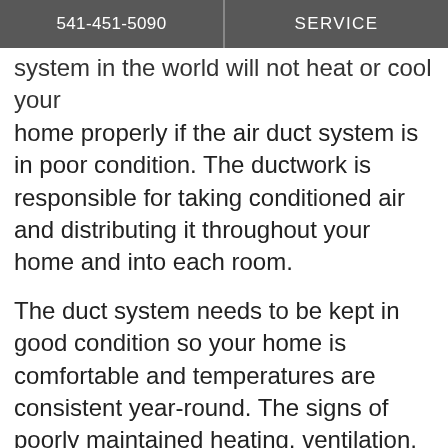541-451-5090  |  SERVICE
system in the world will not heat or cool your home properly if the air duct system is in poor condition. The ductwork is responsible for taking conditioned air and distributing it throughout your home and into each room.
The duct system needs to be kept in good condition so your home is comfortable and temperatures are consistent year-round. The signs of poorly maintained heating, ventilation, and air conditioning (HVAC) ductwork are obvious: hot and cold spots throughout the house, noisy air vents, or even air ducts that sweat and drip.